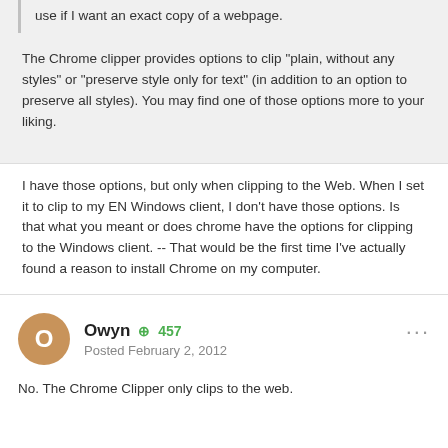use if I want an exact copy of a webpage.
The Chrome clipper provides options to clip "plain, without any styles" or "preserve style only for text" (in addition to an option to preserve all styles). You may find one of those options more to your liking.
I have those options, but only when clipping to the Web. When I set it to clip to my EN Windows client, I don't have those options. Is that what you meant or does chrome have the options for clipping to the Windows client. -- That would be the first time I've actually found a reason to install Chrome on my computer.
Owyn +457 Posted February 2, 2012
No. The Chrome Clipper only clips to the web.